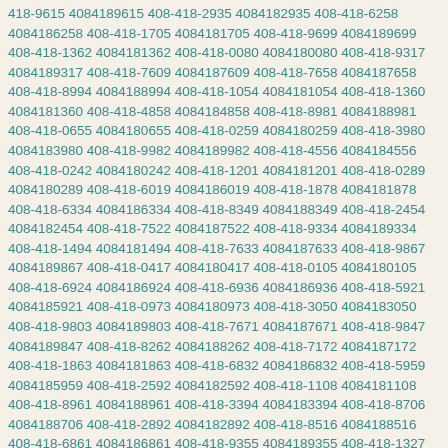418-9615 4084189615 408-418-2935 4084182935 408-418-6258 4084186258 408-418-1705 4084181705 408-418-9699 4084189699 408-418-1362 4084181362 408-418-0080 4084180080 408-418-9317 4084189317 408-418-7609 4084187609 408-418-7658 4084187658 408-418-8994 4084188994 408-418-1054 4084181054 408-418-1360 4084181360 408-418-4858 4084184858 408-418-8981 4084188981 408-418-0655 4084180655 408-418-0259 4084180259 408-418-3980 4084183980 408-418-9982 4084189982 408-418-4556 4084184556 408-418-0242 4084180242 408-418-1201 4084181201 408-418-0289 4084180289 408-418-6019 4084186019 408-418-1878 4084181878 408-418-6334 4084186334 408-418-8349 4084188349 408-418-2454 4084182454 408-418-7522 4084187522 408-418-9334 4084189334 408-418-1494 4084181494 408-418-7633 4084187633 408-418-9867 4084189867 408-418-0417 4084180417 408-418-0105 4084180105 408-418-6924 4084186924 408-418-6936 4084186936 408-418-5921 4084185921 408-418-0973 4084180973 408-418-3050 4084183050 408-418-9803 4084189803 408-418-7671 4084187671 408-418-9847 4084189847 408-418-8262 4084188262 408-418-7172 4084187172 408-418-1863 4084181863 408-418-6832 4084186832 408-418-5959 4084185959 408-418-2592 4084182592 408-418-1108 4084181108 408-418-8961 4084188961 408-418-3394 4084183394 408-418-8706 4084188706 408-418-2892 4084182892 408-418-8516 4084188516 408-418-6861 4084186861 408-418-9355 4084189355 408-418-1327 4084181327 408-418-3606 4084183606 408-418-1897 4084181897 408-418-3121 4084183121 408-418-3799 4084183799 408-418-1990 4084181990 408-418-2298 4084182298 408-418-6265 4084186265 408-